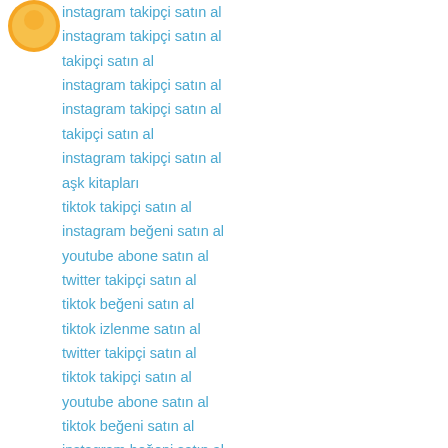[Figure (logo): Orange and yellow circular logo/avatar icon]
instagram takipçi satın al
instagram takipçi satın al
takipçi satın al
instagram takipçi satın al
instagram takipçi satın al
takipçi satın al
instagram takipçi satın al
aşk kitapları
tiktok takipçi satın al
instagram beğeni satın al
youtube abone satın al
twitter takipçi satın al
tiktok beğeni satın al
tiktok izlenme satın al
twitter takipçi satın al
tiktok takipçi satın al
youtube abone satın al
tiktok beğeni satın al
instagram beğeni satın al
trend topic satın al
trend topic satın al
youtube abone satın al
beğeni satın al